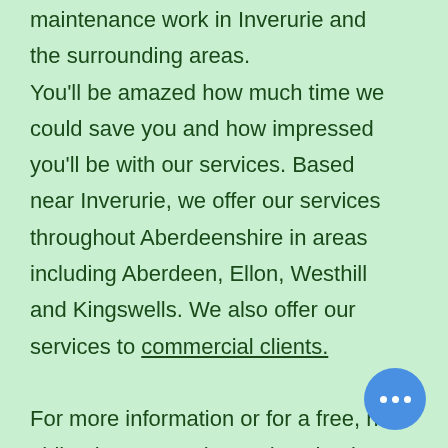maintenance work in Inverurie and the surrounding areas. You'll be amazed how much time we could save you and how impressed you'll be with our services. Based near Inverurie, we offer our services throughout Aberdeenshire in areas including Aberdeen, Ellon, Westhill and Kingswells. We also offer our services to commercial clients.

For more information or for a free, no obligation quote please don't hesitate to get in touch with us today.
[Figure (other): Blue circular chat bubble button with three white dots in the bottom right corner]